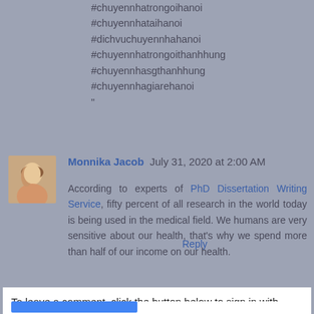#chuyennhatrongoihanoi
#chuyennhataihanoi
#dichvuchuyennhahanoi
#chuyennhatrongoithanhhung
#chuyennhasgthanhhung
#chuyennhagiarehanoi
"
Reply
Monnika Jacob  July 31, 2020 at 2:00 AM
According to experts of PhD Dissertation Writing Service, fifty percent of all research in the world today is being used in the medical field. We humans are very sensitive about our health, that's why we spend more than half of our income on our health.
Reply
To leave a comment, click the button below to sign in with Google.